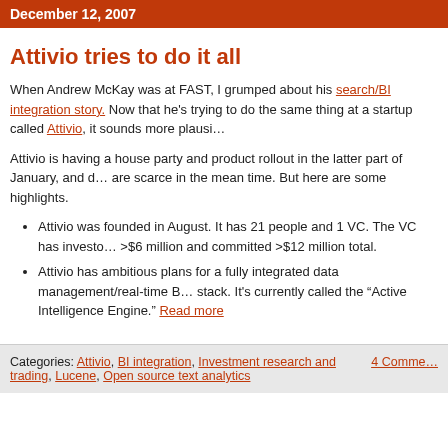December 12, 2007
Attivio tries to do it all
When Andrew McKay was at FAST, I grumped about his search/BI integration story. Now that he's trying to do the same thing at a startup called Attivio, it sounds more plausible.
Attivio is having a house party and product rollout in the latter part of January, and details are scarce in the mean time. But here are some highlights.
Attivio was founded in August. It has 21 people and 1 VC. The VC has invested >$6 million and committed >$12 million total.
Attivio has ambitious plans for a fully integrated data management/real-time BI stack. It’s currently called the “Active Intelligence Engine.” Read more
Categories: Attivio, BI integration, Investment research and trading, Lucene, Open source text analytics
4 Comments